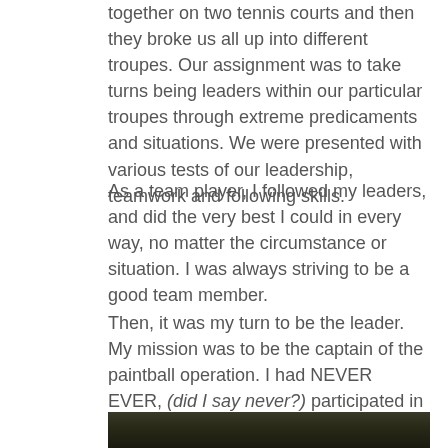together on two tennis courts and then they broke us all up into different troupes. Our assignment was to take turns being leaders within our particular troupes through extreme predicaments and situations. We were presented with various tests of our leadership, teamwork and following skills.
As a team player, I followed my leaders, and did the very best I could in every way, no matter the circumstance or situation. I was always striving to be a good team member.
Then, it was my turn to be the leader. My mission was to be the captain of the paintball operation. I had NEVER EVER, (did I say never?) participated in a paintball experience, let along ever having been to a paintball place! I had no idea what the point was or what I was supposed to be doing. All I knew was that I wanted to succeed and make our troupe proud.
[Figure (photo): Bottom strip of a photograph showing outdoor vegetation/foliage in dark tones]